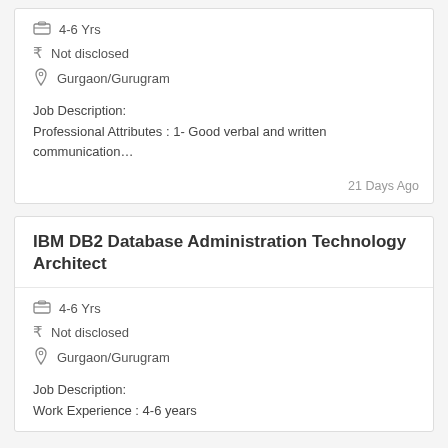4-6 Yrs
Not disclosed
Gurgaon/Gurugram
Job Description:
Professional Attributes : 1- Good verbal and written communication…
21 Days Ago
IBM DB2 Database Administration Technology Architect
4-6 Yrs
Not disclosed
Gurgaon/Gurugram
Job Description:
Work Experience : 4-6 years